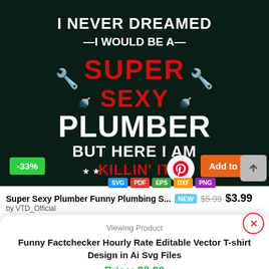[Figure (illustration): Dark green/black background t-shirt design with text: I NEVER DREAMED I WOULD BE A SUPER SEXY PLUMBER BUT HERE I AM KILLIN' IT, with plumber wrench icons. Format tags: SVG, PDF, EPS, DXF, PNG. Discount badge -33%, Pinterest button, Add to Cart button.]
Super Sexy Plumber Funny Plumbing S... NEW $5.99 $3.99
by VTD_Official
Viewing Product
Funny Factchecker Hourly Rate Editable Vector T-shirt Design in Ai Svg Files
Price: $2.99
Add to cart